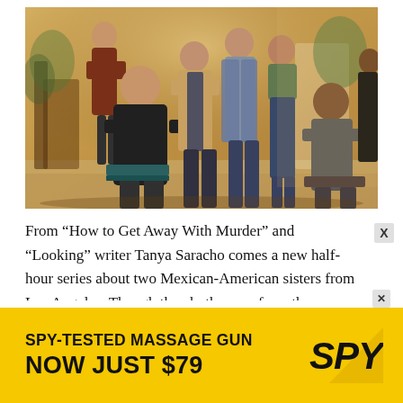[Figure (photo): Group photo of the cast of a TV show, several men and women in a casual indoor setting with warm lighting, some seated and some standing.]
From “How to Get Away With Murder” and “Looking” writer Tanya Saracho comes a new half-hour series about two Mexican-American sisters from Los Angeles. Though they both come from the Eastside of L.A., Lyn (Melissa Barrera) and Emma (Mishel Prada) couldn’t be more
[Figure (other): Advertisement banner: SPY-TESTED MASSAGE GUN NOW JUST $79 with SPY logo on yellow background]